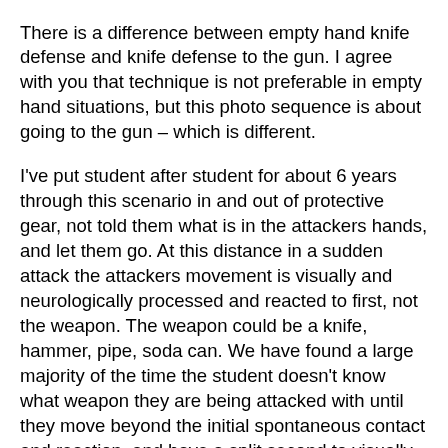There is a difference between empty hand knife defense and knife defense to the gun. I agree with you that technique is not preferable in empty hand situations, but this photo sequence is about going to the gun – which is different. I've put student after student for about 6 years through this scenario in and out of protective gear, not told them what is in the attackers hands, and let them go. At this distance in a sudden attack the attackers movement is visually and neurologically processed and reacted to first, not the weapon. The weapon could be a knife, hammer, pipe, soda can. We have found a large majority of the time the student doesn't know what weapon they are being attacked with until they move beyond the initial spontaneous contact and reaction, and have a split second to visually recognize the weapon in OODA. As this is the case, in Pramek's experience most people will put atleast one hand up to defend against a sagittal downward attack. The question is how do we weaponize that movement and subsequent movements to get to the gun.